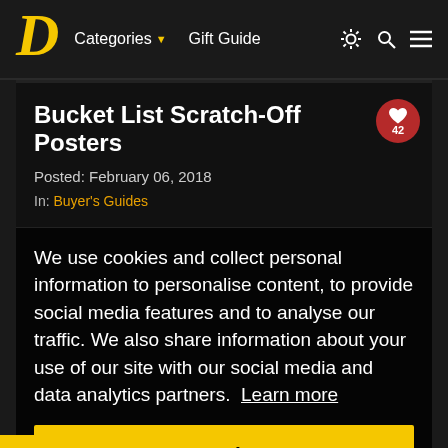D  Categories ▼  Gift Guide  ⚙ 🔍 ≡
Bucket List Scratch-Off Posters
Posted: February 06, 2018
In: Buyer's Guides
We use cookies and collect personal information to personalise content, to provide social media features and to analyse our traffic. We also share information about your use of our site with our social media and data analytics partners. Learn more
Got it!